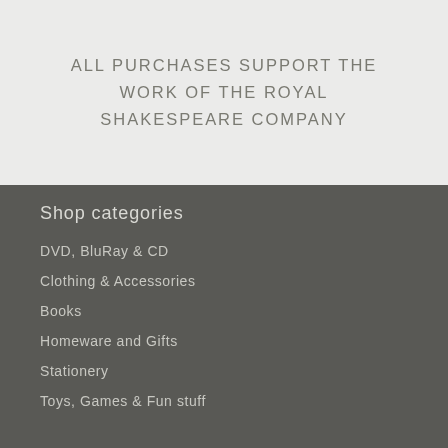ALL PURCHASES SUPPORT THE WORK OF THE ROYAL SHAKESPEARE COMPANY
Shop categories
DVD, BluRay & CD
Clothing & Accessories
Books
Homeware and Gifts
Stationery
Toys, Games & Fun stuff